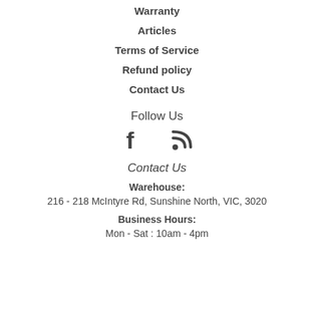Warranty
Articles
Terms of Service
Refund policy
Contact Us
Follow Us
[Figure (illustration): Facebook and RSS feed icons]
Contact Us
Warehouse:
216 - 218 McIntyre Rd, Sunshine North, VIC, 3020
Business Hours:
Mon - Sat : 10am - 4pm